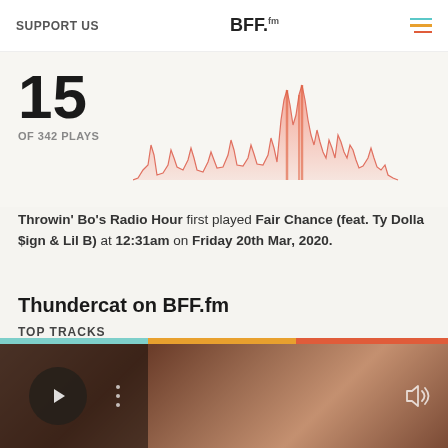SUPPORT US | BFF.fm
[Figure (area-chart): Area chart showing play frequency over time, salmon/coral colored spikes against light background]
15
OF 342 PLAYS
Throwin' Bo's Radio Hour first played Fair Chance (feat. Ty Dolla $ign & Lil B) at 12:31am on Friday 20th Mar, 2020.
Thundercat on BFF.fm
TOP TRACKS
1. Them Changes
2. Show You the Way